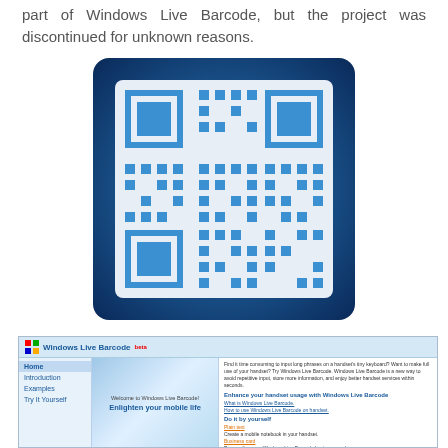part of Windows Live Barcode, but the project was discontinued for unknown reasons.
[Figure (other): A blue QR code on a dark blue gradient background with a white border, representing a Windows Live Barcode.]
[Figure (screenshot): Screenshot of the Windows Live Barcode website showing navigation menu with Home, Introduction, Examples, Try It Yourself links, a banner saying 'Welcome to Windows Live Barcode! Enlighten your mobile life', and content sections including 'Enhance your handset usage with Windows Live Barcode' and 'Do it by yourself'.]